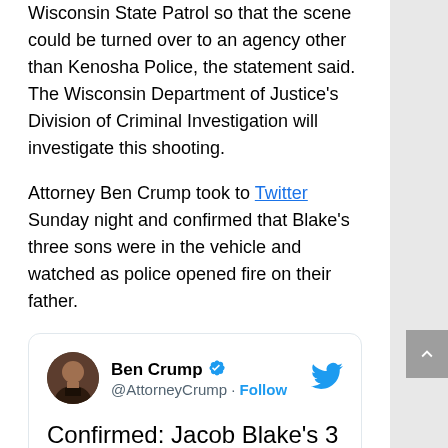Wisconsin State Patrol so that the scene could be turned over to an agency other than Kenosha Police, the statement said. The Wisconsin Department of Justice's Division of Criminal Investigation will investigate this shooting.
Attorney Ben Crump took to Twitter Sunday night and confirmed that Blake's three sons were in the vehicle and watched as police opened fire on their father.
[Figure (screenshot): Embedded tweet from @AttorneyCrump (Ben Crump, verified) reading: Confirmed: Jacob Blake's 3 SONS were IN THE CAR he was getting into when @KenoshaPolice shot him tonight. They saw a cop shoot their father. They will be traumatized forever. We cannot let officers violate their right to PROTECT... (truncated)]